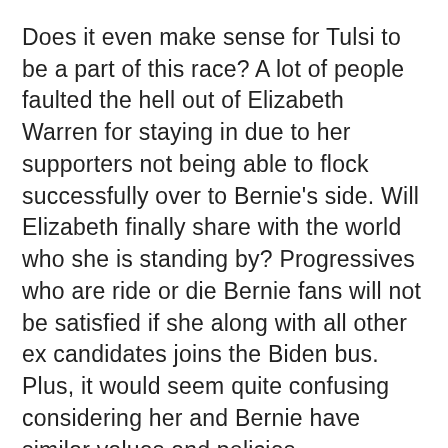Does it even make sense for Tulsi to be a part of this race? A lot of people faulted the hell out of Elizabeth Warren for staying in due to her supporters not being able to flock successfully over to Bernie's side. Will Elizabeth finally share with the world who she is standing by? Progressives who are ride or die Bernie fans will not be satisfied if she along with all other ex candidates joins the Biden bus. Plus, it would seem quite confusing considering her and Bernie have similar values and policies.